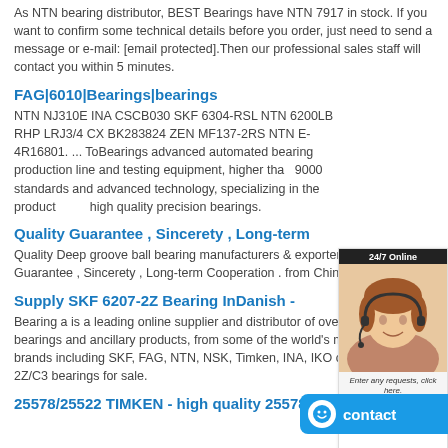As NTN bearing distributor, BEST Bearings have NTN 7917 in stock. If you want to confirm some technical details before you order, just need to send a message or e-mail: [email protected].Then our professional sales staff will contact you within 5 minutes.
FAG|6010|Bearings|bearings
NTN NJ310E INA CSCB030 SKF 6304-RSL NTN 6200LB RHP LRJ3/4 CX BK283824 ZEN MF137-2RS NTN E-4R16801. ... ToBearings advanced automated bearing production line and testing equipment, higher than 9000 standards and advanced technology, specializing in the production of high quality precision bearings.
[Figure (photo): Live chat widget showing a female customer service representative with headset, '24/7 Online' header, 'Enter any requests, click here.' message, and an orange 'Quotation' button]
Quality Guarantee , Sincerety , Long-term
Quality Deep groove ball bearing manufacturers & exporter - buy Quality Guarantee , Sincerety , Long-term Cooperation . from China manufacturer.
Supply SKF 6207-2Z Bearing InDanish -
Bearing a is a leading online supplier and distributor of over 1,000,000 bearings and ancillary products, from some of the world's most trusted brands including SKF, FAG, NTN, NSK, Timken, INA, IKO choose 6207-2Z/C3 bearings for sale.
[Figure (other): Blue contact button widget with smiley face icon and 'contact' text]
25578/25522 TIMKEN - high quality 25578/25522 bearing